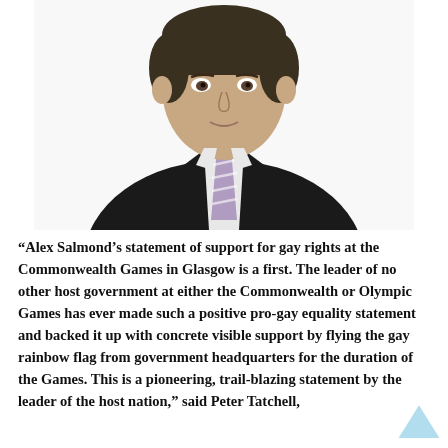[Figure (photo): Head and shoulders photo of a middle-aged man in a black suit with a purple/white striped tie, white shirt, against a white background.]
“Alex Salmond’s statement of support for gay rights at the Commonwealth Games in Glasgow is a first. The leader of no other host government at either the Commonwealth or Olympic Games has ever made such a positive pro-gay equality statement and backed it up with concrete visible support by flying the gay rainbow flag from government headquarters for the duration of the Games. This is a pioneering, trail-blazing statement by the leader of the host nation,” said Peter Tatchell, Director of the human rights lobbying body Peter Tatchell